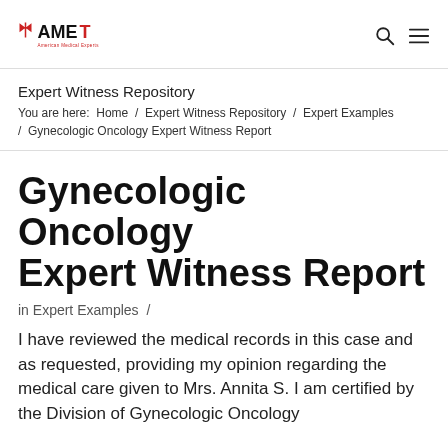AMET — American Medical Experts
Expert Witness Repository
You are here:  Home / Expert Witness Repository / Expert Examples / Gynecologic Oncology Expert Witness Report
Gynecologic Oncology Expert Witness Report
in Expert Examples  /
I have reviewed the medical records in this case and as requested, providing my opinion regarding the medical care given to Mrs. Annita S. I am certified by the Division of Gynecologic Oncology